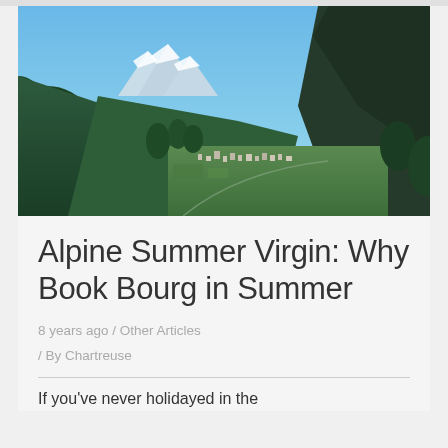[Figure (photo): Aerial view of an Alpine valley with a town nestled between green forested mountains, blue sky above, with snow-capped peaks in the background.]
Alpine Summer Virgin: Why Book Bourg in Summer
8 years ago / Other Articles
/ By Chartreuse
If you've never holidayed in the